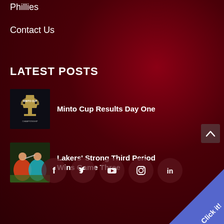Phillies
Contact Us
LATEST POSTS
[Figure (photo): Minto Cup Championship trophy logo on dark background]
Minto Cup Results Day One
[Figure (photo): Lacrosse players in action during Lakers game]
Lakers' Strong Third Period Wins Game Three
[Figure (infographic): Social media icons: Facebook, Twitter, YouTube, Instagram, LinkedIn in circular buttons]
Click it!